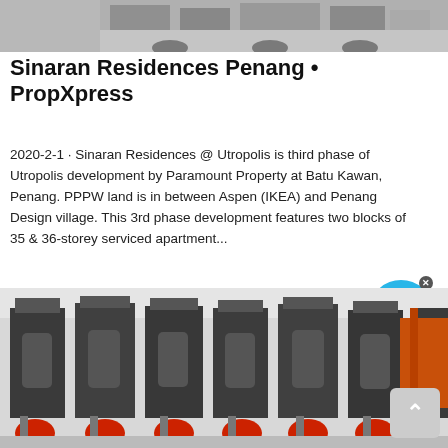[Figure (photo): Top portion of a photo showing industrial machinery/equipment in gray color against a light background]
Sinaran Residences Penang • PropXpress
2020-2-1 · Sinaran Residences @ Utropolis is third phase of Utropolis development by Paramount Property at Batu Kawan, Penang. PPPW land is in between Aspen (IKEA) and Penang Design village. This 3rd phase development features two blocks of 35 & 36-storey serviced apartment...
[Figure (photo): Photo of multiple large industrial machines (crushers or heavy equipment) arranged in a row inside a factory/warehouse, with red wheel components visible at the bottom]